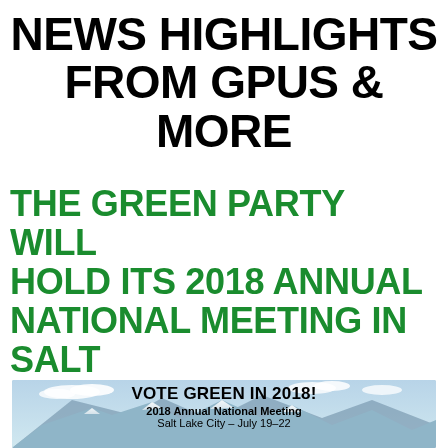NEWS HIGHLIGHTS FROM GPUS & MORE
THE GREEN PARTY WILL HOLD ITS 2018 ANNUAL NATIONAL MEETING IN SALT LAKE CITY, JULY 19-22
[Figure (photo): Photo of mountains with blue sky and clouds, overlaid with text: VOTE GREEN IN 2018! / 2018 Annual National Meeting / Salt Lake City – July 19–22]